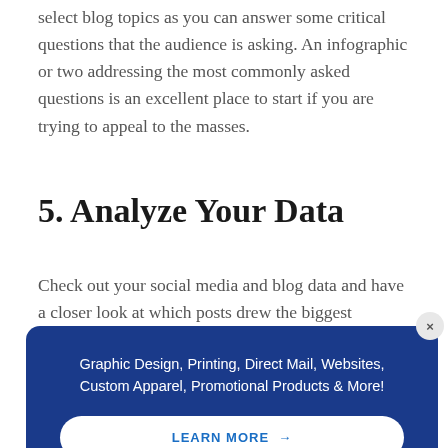select blog topics as you can answer some critical questions that the audience is asking. An infographic or two addressing the most commonly asked questions is an excellent place to start if you are trying to appeal to the masses.
5. Analyze Your Data
Check out your social media and blog data and have a closer look at which posts drew the biggest audience. What was it about those blogs
[Figure (infographic): Dark blue popup/banner overlay with white text reading 'Graphic Design, Printing, Direct Mail, Websites, Custom Apparel, Promotional Products & More!' and a white rounded button with blue text 'LEARN MORE →'. Has a close button (×) in the top right corner.]
information in blogs that didn't do too well; you'll